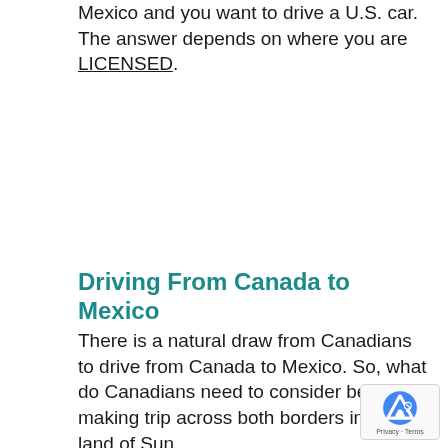Mexico and you want to drive a U.S. car. The answer depends on where you are LICENSED.
Driving From Canada to Mexico
There is a natural draw from Canadians to drive from Canada to Mexico. So, what do Canadians need to consider before making trip across both borders into the land of Sun